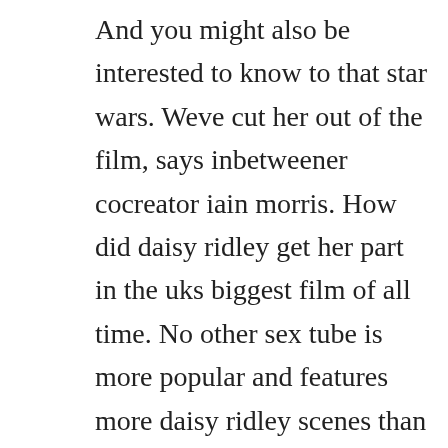And you might also be interested to know to that star wars. Weve cut her out of the film, says inbetweener cocreator iain morris. How did daisy ridley get her part in the uks biggest film of all time. No other sex tube is more popular and features more daisy ridley scenes than pornhub. The force awakens 2015, the last jedi 2017, and the rise of skywalker 2019. She is best known for her breakthrough role as rey in the 2015 film, star wars. Daisy ridley ridley at the 2015 san diego comiccon born daisy jazz isobel ridley 19920410 10 april 1992 age 28 westminster, london. Kelly and